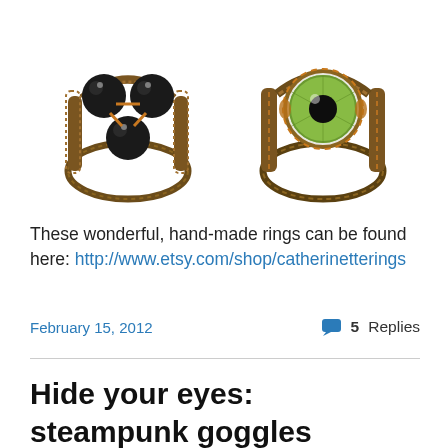[Figure (photo): Two steampunk-style rings: left ring has three black spheres wrapped in bronze wire; right ring has a green glass eye set in coiled bronze wire.]
These wonderful, hand-made rings can be found here: http://www.etsy.com/shop/catherinetterings
February 15, 2012   💬 5 Replies
Hide your eyes: steampunk goggles